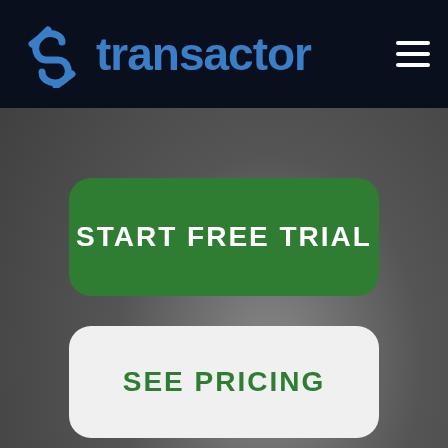transactor
START FREE TRIAL
SEE PRICING
VIDEO TOUR